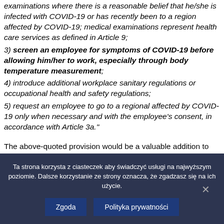examinations where there is a reasonable belief that he/she is infected with COVID-19 or has recently been to a region affected by COVID-19; medical examinations represent health care services as defined in Article 9;
3) screen an employee for symptoms of COVID-19 before allowing him/her to work, especially through body temperature measurement;
4) introduce additional workplace sanitary regulations or occupational health and safety regulations;
5) request an employee to go to a regional affected by COVID-19 only when necessary and with the employee's consent, in accordance with Article 3a."
The above-quoted provision would be a valuable addition to the Polish labor law as it would settle all the doubts surrounding temperature measurement by employers.
Ta strona korzysta z ciasteczek aby świadczyć usługi na najwyższym poziomie. Dalsze korzystanie ze strony oznacza, że zgadzasz się na ich użycie.